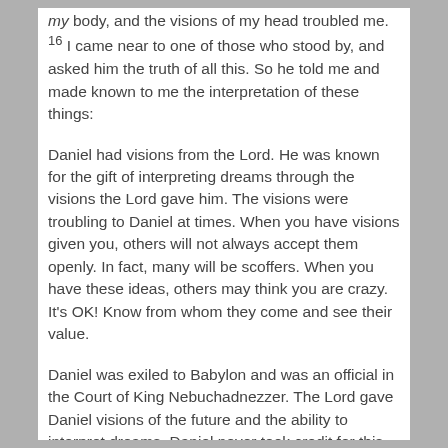my body, and the visions of my head troubled me. 16 I came near to one of those who stood by, and asked him the truth of all this. So he told me and made known to me the interpretation of these things:
Daniel had visions from the Lord. He was known for the gift of interpreting dreams through the visions the Lord gave him. The visions were troubling to Daniel at times. When you have visions given you, others will not always accept them openly. In fact, many will be scoffers. When you have these ideas, others may think you are crazy. It's OK! Know from whom they come and see their value.
Daniel was exiled to Babylon and was an official in the Court of King Nebuchadnezzer. The Lord gave Daniel visions of the future and the ability to interpret dreams. Daniel never took credit for this gift but told how the Lord had done these things